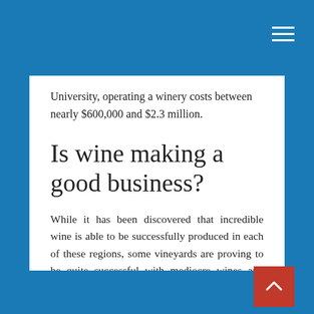University, operating a winery costs between nearly $600,000 and $2.3 million.
Is wine making a good business?
While it has been discovered that incredible wine is able to be successfully produced in each of these regions, some vineyards are proving to be quite successful with mediocre wines and others are not profitable with spectacular varieties. Wine making can be profitable for the right person and reason.